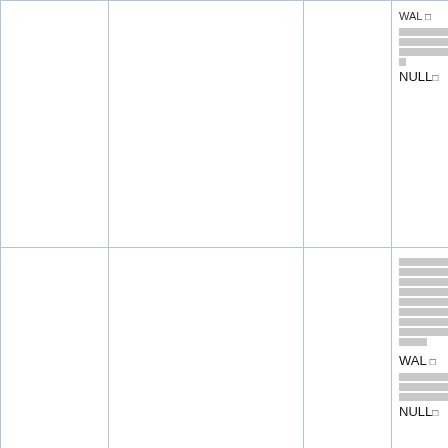| Column 1 | Name | Type | Description |
| --- | --- | --- | --- |
|  |  |  | WAL □ □□□□□□□□ □□□□□□□□ □□□□□□□□ □ NULL□ |
|  | pg_last_wal_replay_lsn() | pg_lsn | □□□□□□□□ □□□□□□□□ □□□□□□□□ □□□□□□□□ □□□□□□□□ □□□□□□□□ □□□□□□□□ □□□□□□□□ □□□□ WAL □ □□□□□□□□ □□□□□□□□ □□□□□□□ NULL□ |
|  |  |  | □□□□□□□□ □□□□□□□□ □□□□□□□□ □□□□□□□□ |